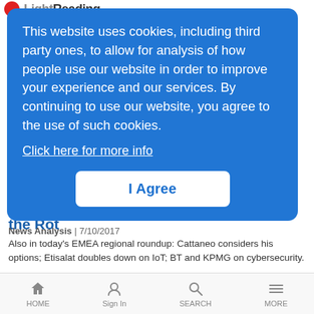Light Reading
This website uses cookies, including third party ones, to allow for analysis of how people use our website in order to improve your experience and our services. By continuing to use our website, you agree to the use of such cookies.
Click here for more info
I Agree
here are
f
Eurobites: BT Calls in McKinsey to Stop the Rot
News Analysis | 7/10/2017
Also in today's EMEA regional roundup: Cattaneo considers his options; Etisalat doubles down on IoT; BT and KPMG on cybersecurity.
Microsoft, HPE Partner on Azure Stack Expansion
HOME  Sign In  SEARCH  MORE